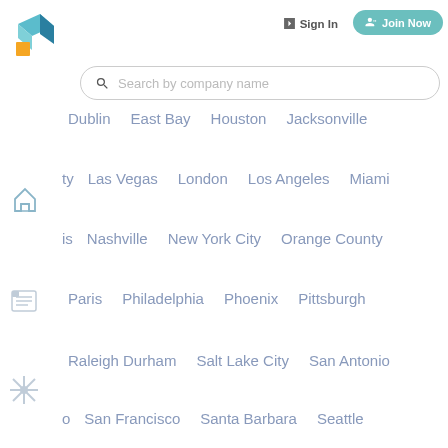[Figure (logo): Toptal logo - geometric shape with teal and orange colors]
Sign In
Join Now
Search by company name
Dublin · East Bay · Houston · Jacksonville
ty · Las Vegas · London · Los Angeles · Miami
is · Nashville · New York City · Orange County
Paris · Philadelphia · Phoenix · Pittsburgh
Raleigh Durham · Salt Lake City · San Antonio
o · San Francisco · Santa Barbara · Seattle
Silicon Valley · Singapore · St Louis · Stockholm · Sydney